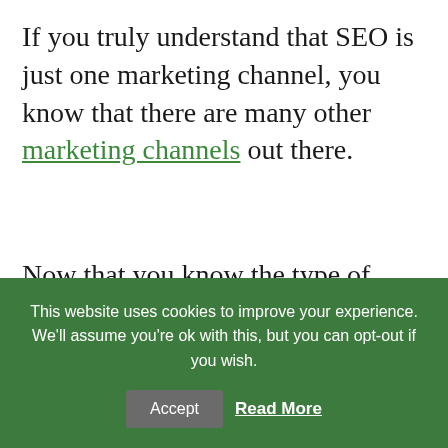If you truly understand that SEO is just one marketing channel, you know that there are many other marketing channels out there.
Now that you know the type of people you're looking for, you can find them on social media
This website uses cookies to improve your experience. We'll assume you're ok with this, but you can opt-out if you wish.